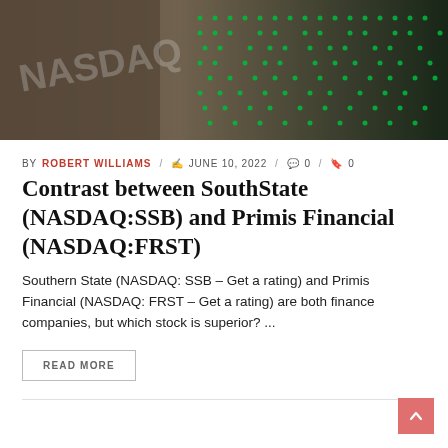[Figure (photo): Close-up photo of a NASDAQ stock ticker/display board showing green LED dot-matrix numbers and the NASDAQ logo/text, with dark background tones on the left side.]
BY ROBERT WILLIAMS / 🗨 JUNE 10, 2022 / 🗨 0 / 🔖 0
Contrast between SouthState (NASDAQ:SSB) and Primis Financial (NASDAQ:FRST)
Southern State (NASDAQ: SSB – Get a rating) and Primis Financial (NASDAQ: FRST – Get a rating) are both finance companies, but which stock is superior? ...
READ MORE